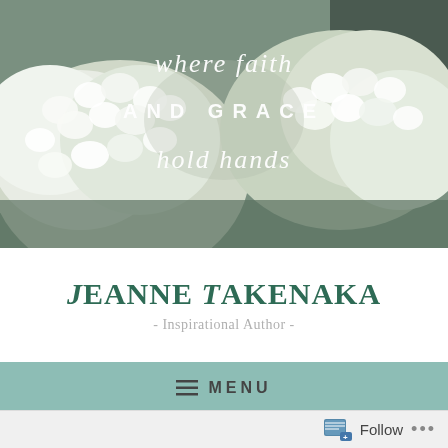[Figure (photo): White hydrangea flowers photograph with overlaid italic text: 'where faith AND GRACE hold hands']
Jeanne Takenaka
- Inspirational Author -
≡ MENU
MONTH: AUGUST 2015
Follow ...